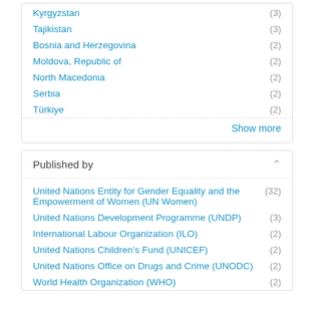Kyrgyzstan (3)
Tajikistan (3)
Bosnia and Herzegovina (2)
Moldova, Republic of (2)
North Macedonia (2)
Serbia (2)
Türkiye (2)
Show more
Published by
United Nations Entity for Gender Equality and the Empowerment of Women (UN Women) (32)
United Nations Development Programme (UNDP) (3)
International Labour Organization (ILO) (2)
United Nations Children's Fund (UNICEF) (2)
United Nations Office on Drugs and Crime (UNODC) (2)
World Health Organization (WHO) (2)